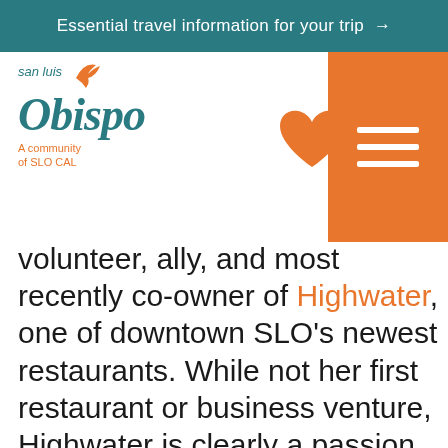Essential travel information for your trip →
[Figure (logo): San Luis Obispo - A community of SLO CAL logo with teal text and orange bird icon]
[Figure (illustration): Orange heart icon]
[Figure (illustration): Orange menu/hamburger button block with three white lines]
volunteer, ally, and most recently co-owner of Highwater, one of downtown SLO's newest restaurants. While not her first restaurant or business venture, Highwater is clearly a passion project for her and her husband. The vibe is cool, from rock legends stenciled on the walls to album sleeve menus and classic tunes